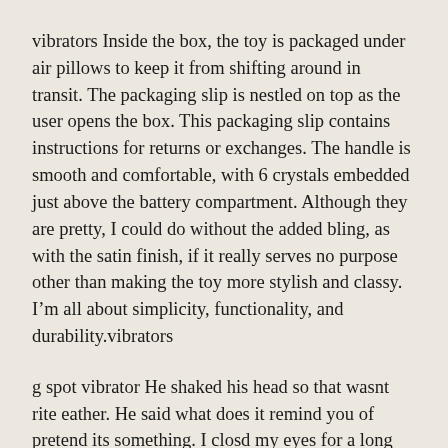vibrators Inside the box, the toy is packaged under air pillows to keep it from shifting around in transit. The packaging slip is nestled on top as the user opens the box. This packaging slip contains instructions for returns or exchanges. The handle is smooth and comfortable, with 6 crystals embedded just above the battery compartment. Although they are pretty, I could do without the added bling, as with the satin finish, if it really serves no purpose other than making the toy more stylish and classy. I'm all about simplicity, functionality, and durability.vibrators
g spot vibrator He shaked his head so that wasnt rite eather. He said what does it remind you of pretend its something. I closd my eyes for a long time to pretend and then I said I pretend a bottel of ink spilld all over a wite card. Trust me, I get what you saying. A good save